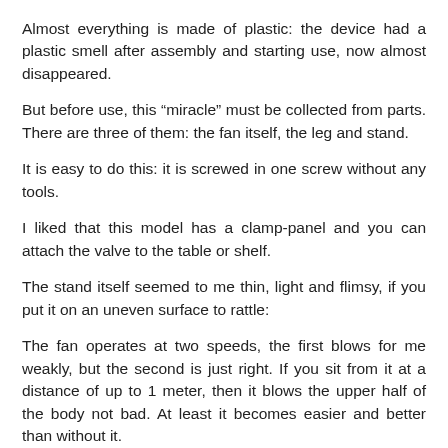Almost everything is made of plastic: the device had a plastic smell after assembly and starting use, now almost disappeared.
But before use, this “miracle” must be collected from parts. There are three of them: the fan itself, the leg and stand.
It is easy to do this: it is screwed in one screw without any tools.
I liked that this model has a clamp-panel and you can attach the valve to the table or shelf.
The stand itself seemed to me thin, light and flimsy, if you put it on an uneven surface to rattle:
The fan operates at two speeds, the first blows for me weakly, but the second is just right. If you sit from it at a distance of up to 1 meter, then it blows the upper half of the body not bad. At least it becomes easier and better than without it.